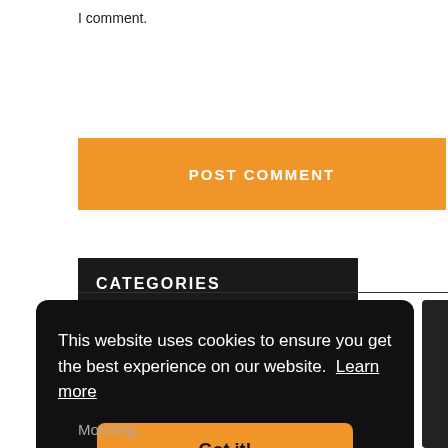I comment.
[Figure (other): Orange POST COMMENT button]
CATEGORIES
This website uses cookies to ensure you get the best experience on our website. Learn more
[Figure (other): Orange Got it! button inside cookie consent banner]
Motoring